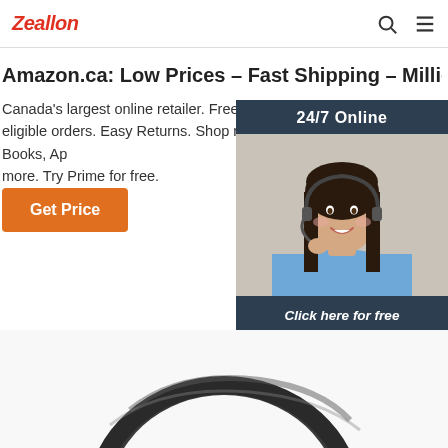Zeallon
Amazon.ca: Low Prices – Fast Shipping – Millions of Items
Canada's largest online retailer. Free Shipping on eligible orders. Easy Returns. Shop now for Electronics, Books, Apparel & much more. Try Prime for free.
Get Price
[Figure (photo): Chat widget with 24/7 Online label, photo of woman with headset smiling, Click here for free chat text, and QUOTATION button]
[Figure (photo): Partial product image at bottom of page, appears to be a dark-colored product (possibly headphones or electronic device)]